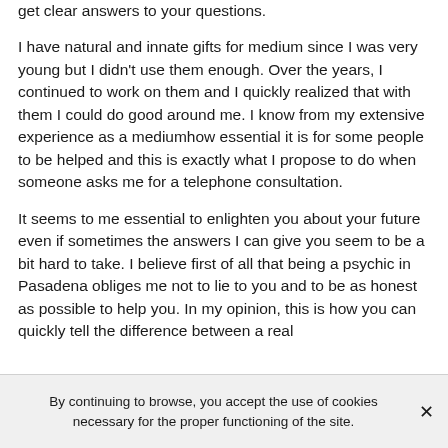get clear answers to your questions.
I have natural and innate gifts for medium since I was very young but I didn't use them enough. Over the years, I continued to work on them and I quickly realized that with them I could do good around me. I know from my extensive experience as a mediumhow essential it is for some people to be helped and this is exactly what I propose to do when someone asks me for a telephone consultation.
It seems to me essential to enlighten you about your future even if sometimes the answers I can give you seem to be a bit hard to take. I believe first of all that being a psychic in Pasadena obliges me not to lie to you and to be as honest as possible to help you. In my opinion, this is how you can quickly tell the difference between a real
By continuing to browse, you accept the use of cookies necessary for the proper functioning of the site.